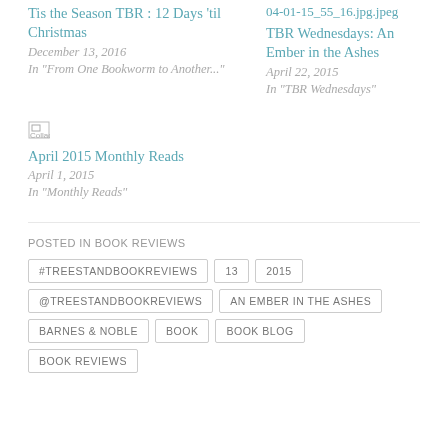Tis the Season TBR : 12 Days 'til Christmas
December 13, 2016
In "From One Bookworm to Another..."
04-01-15_55_16.jpg.jpeg
TBR Wednesdays: An Ember in the Ashes
April 22, 2015
In "TBR Wednesdays"
[Figure (other): Broken image placeholder for Collages2]
April 2015 Monthly Reads
April 1, 2015
In "Monthly Reads"
POSTED IN BOOK REVIEWS
#TREESTANDBOOKREVIEWS
13
2015
@TREESTANDBOOKREVIEWS
AN EMBER IN THE ASHES
BARNES & NOBLE
BOOK
BOOK BLOG
BOOK REVIEWS